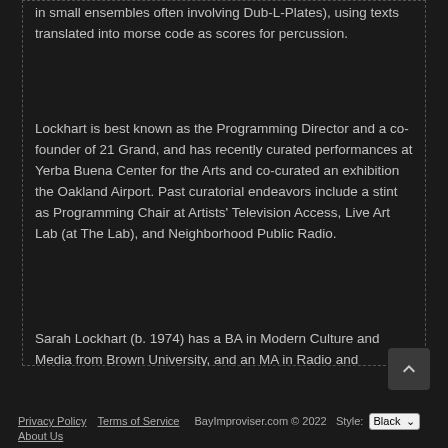in small ensembles often involving Dub-L-Plates), using texts translated into morse code as scores for percussion.
Lockhart is best known as the Programming Director and a co-founder of 21 Grand, and has recently curated performances at Yerba Buena Center for the Arts and co-curated an exhibition the Oakland Airport. Past curatorial endeavors include a stint as Programming Chair at Artists' Television Access, Live Art Lab (at The Lab), and Neighborhood Public Radio.
Sarah Lockhart (b. 1974) has a BA in Modern Culture and Media from Brown University, and an MA in Radio and Television from SF State.
Privacy Policy   Terms of Service   BayImproviser.com © 2022   Style: Black   About Us